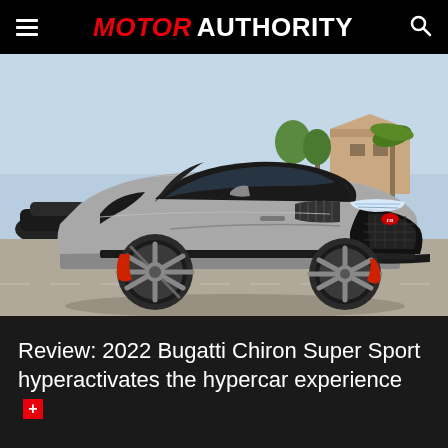MOTOR AUTHORITY
[Figure (photo): A silver/grey 2022 Bugatti Chiron Super Sport hypercar photographed in a parking lot on a sunny day, shown from a front three-quarter angle. The car has a distinctive Bugatti horseshoe grille, quad exhaust pipes visible at rear, carbon fiber accents, and large multi-spoke wheels with exposed red brake calipers. Background shows palm trees and buildings under a blue sky.]
Review: 2022 Bugatti Chiron Super Sport hyperactivates the hypercar experience